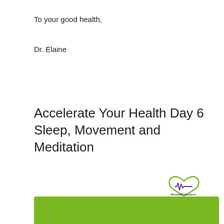To your good health,
Dr. Elaine
Accelerate Your Health Day 6 Sleep, Movement and Meditation
[Figure (logo): WholeMEDStudent logo: a heart outline with an EKG waveform inside, and the text 'WholeMEDStudent' with tagline 'Your Health. Our Future.']
7 Day Accelerate Your Health Challenge
[Figure (other): Green bar at the bottom of the page]